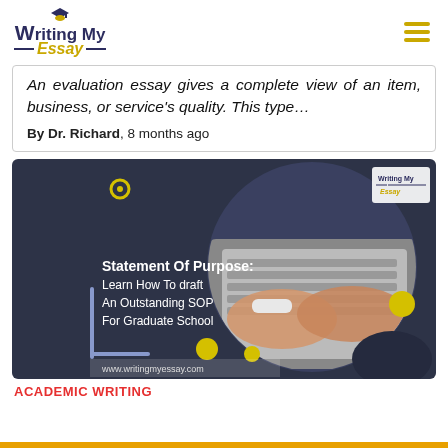Writing My Essay
An evaluation essay gives a complete view of an item, business, or service's quality. This type…
By Dr. Richard, 8 months ago
[Figure (illustration): Statement Of Purpose: Learn How To draft An Outstanding SOP For Graduate School — promotional banner with dark navy background, circular photo of hands on laptop keyboard, yellow accent dots, Writing My Essay logo, and website URL www.writingmyessay.com]
ACADEMIC WRITING